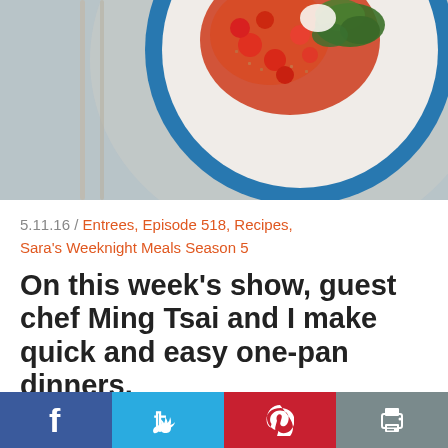[Figure (photo): Top-down photo of a blue-rimmed white plate with a colorful dish featuring red tomatoes, grains, and green herb garnish on a light background with cutlery visible.]
5.11.16 / Entrees, Episode 518, Recipes, Sara's Weeknight Meals Season 5
On this week's show, guest chef Ming Tsai and I make quick and easy one-pan dinners.
Using just one pan for dinner makes both